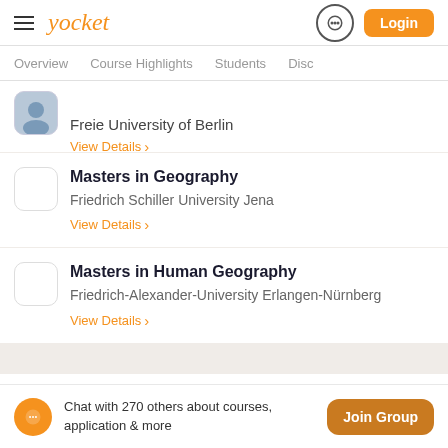Yocket | Login
Overview | Course Highlights | Students | Disc
Freie University of Berlin — View Details
Masters in Geography | Friedrich Schiller University Jena — View Details
Masters in Human Geography | Friedrich-Alexander-University Erlangen-Nürnberg — View Details
Chat with 270 others about courses, application & more
Join Group